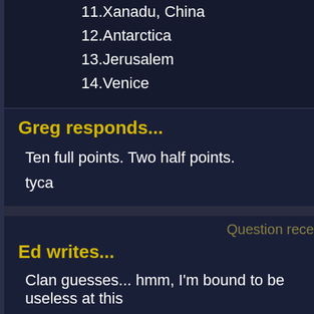11.Xanadu, China
12.Antarctica
13.Jerusalem
14.Venice
Greg responds...
Ten full points. Two half points.
tyca
Question rece
Ed writes...
Clan guesses... hmm, I'm bound to be useless at this
Clans existing in 1994:
1. London
2. Ishimura
3. Guatemala
4. New Olympus